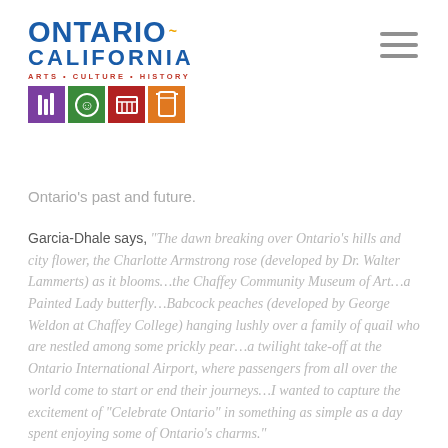[Figure (logo): Ontario California Arts Culture History logo with colorful icon boxes]
Ontario's past and future.
Garcia-Dhale says, "The dawn breaking over Ontario's hills and city flower, the Charlotte Armstrong rose (developed by Dr. Walter Lammerts) as it blooms...the Chaffey Community Museum of Art...a Painted Lady butterfly...Babcock peaches (developed by George Weldon at Chaffey College) hanging lushly over a family of quail who are nestled among some prickly pear...a twilight take-off at the Ontario International Airport, where passengers from all over the world come to start or end their journeys...I wanted to capture the excitement of "Celebrate Ontario" in something as simple as a day spent enjoying some of Ontario's charms."